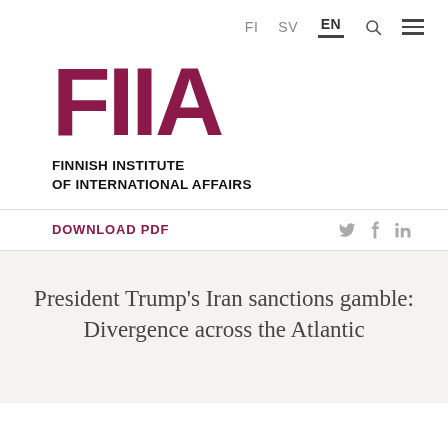FI  SV  EN
[Figure (logo): FIIA - Finnish Institute of International Affairs logo with large bold magenta letters FIIA and subtitle text]
DOWNLOAD PDF
President Trump's Iran sanctions gamble: Divergence across the Atlantic